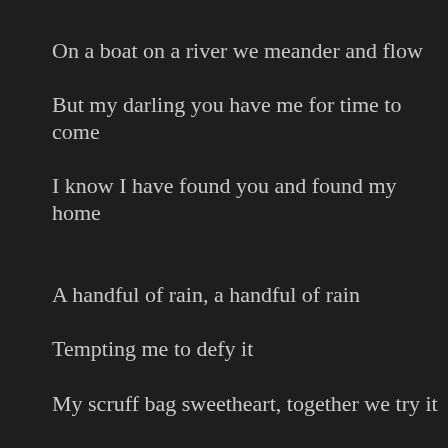On a boat on a river we meander and flow
But my darling you have me for time to come
I know I have found you and found my home
A handful of rain, a handful of rain
Tempting me to defy it
My scruff bag sweetheart, together we try it